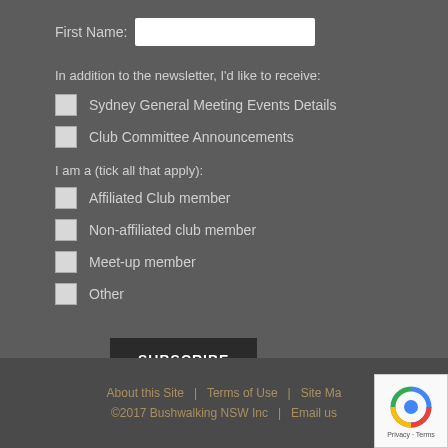First Name:
In addition to the newsletter, I'd like to receive:
Sydney General Meeting Events Details
Club Committee Announcements
I am a (tick all that apply):
Affiliated Club member
Non-affiliated club member
Meet-up member
Other
SUBSCRIBE
About this Site  |  Terms of Use  |  Site Ma...  ©2017 Bushwalking NSW Inc  |  Email us